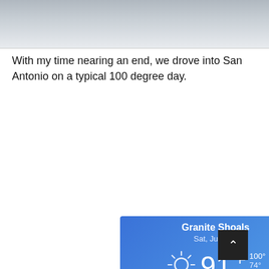[Figure (photo): Partial photo of a shiny metallic surface, appears to be top portion cropped]
With my time nearing an end, we drove into San Antonio on a typical 100 degree day.
[Figure (screenshot): Weather app screenshot showing Granite Shoals, Sat June 23, 91°F, Sunny, High 100° Low 74°, RealFeel 100°, Chance of rain 1%, UV Index Extreme, Sunset 8:39 PM]